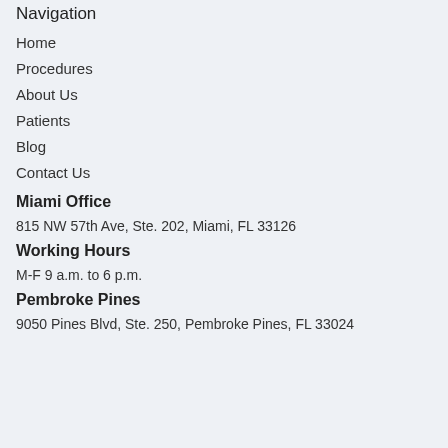Navigation
Home
Procedures
About Us
Patients
Blog
Contact Us
Miami Office
815 NW 57th Ave, Ste. 202, Miami, FL 33126
Working Hours
M-F 9 a.m. to 6 p.m.
Pembroke Pines
9050 Pines Blvd, Ste. 250, Pembroke Pines, FL 33024